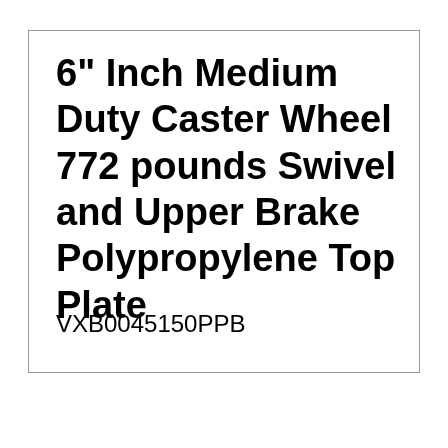6" Inch Medium Duty Caster Wheel 772 pounds Swivel and Upper Brake Polypropylene Top Plate
VXB0045150PPB